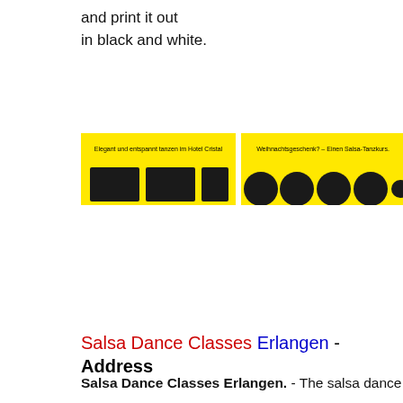and print it out
in black and white.
[Figure (screenshot): Two yellow banner advertisements side by side. Left banner reads 'Elegant und entspannt tanzen im Hotel Cristal' with partial dark text/logos below. Right banner reads 'Weihnachtsgeschenk? – Einen Salsa-Tanzkurs.' with partial dark circular shapes below.]
Salsa Dance Classes Erlangen - Address
Salsa Dance Classes Erlangen. - The salsa dance